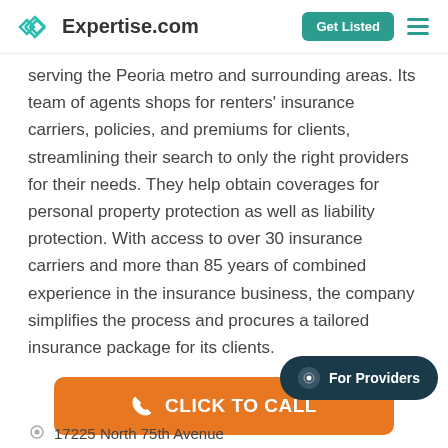Expertise.com | Get Listed
serving the Peoria metro and surrounding areas. Its team of agents shops for renters' insurance carriers, policies, and premiums for clients, streamlining their search to only the right providers for their needs. They help obtain coverages for personal property protection as well as liability protection. With access to over 30 insurance carriers and more than 85 years of combined experience in the insurance business, the company simplifies the process and procures a tailored insurance package for its clients.
CLICK TO CALL
For Providers
17225 North 75th Avenue